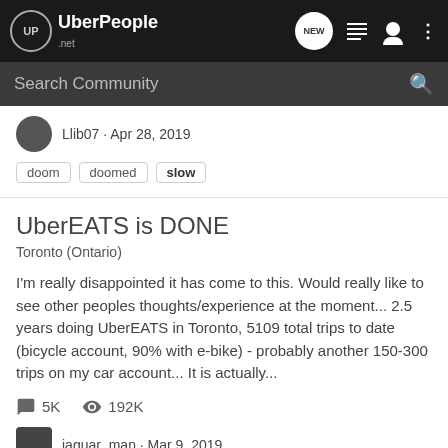UberPeople.net — navigation bar with logo, NEW button, list icon, user icon, more icon
Search Community
Llib07 · Apr 28, 2019
doom
doomed
slow
UberEATS is DONE
Toronto (Ontario)
I'm really disappointed it has come to this. Would really like to see other peoples thoughts/experience at the moment... 2.5 years doing UberEATS in Toronto, 5109 total trips to date (bicycle account, 90% with e-bike) - probably another 150-300 trips on my car account... It is actually...
5K  192K
jaguar_man · Mar 9, 2019
dead  slow  ubereats  ubereats toronto not busy